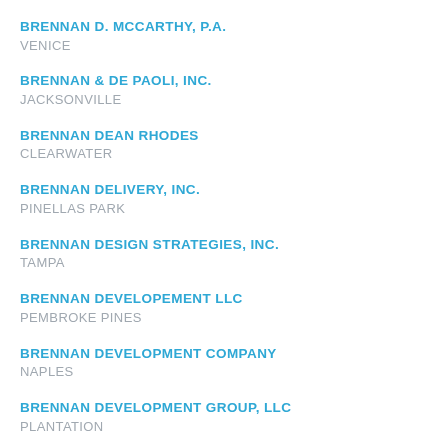BRENNAN D. MCCARTHY, P.A.
VENICE
BRENNAN & DE PAOLI, INC.
JACKSONVILLE
BRENNAN DEAN RHODES
CLEARWATER
BRENNAN DELIVERY, INC.
PINELLAS PARK
BRENNAN DESIGN STRATEGIES, INC.
TAMPA
BRENNAN DEVELOPEMENT LLC
PEMBROKE PINES
BRENNAN DEVELOPMENT COMPANY
NAPLES
BRENNAN DEVELOPMENT GROUP, LLC
PLANTATION